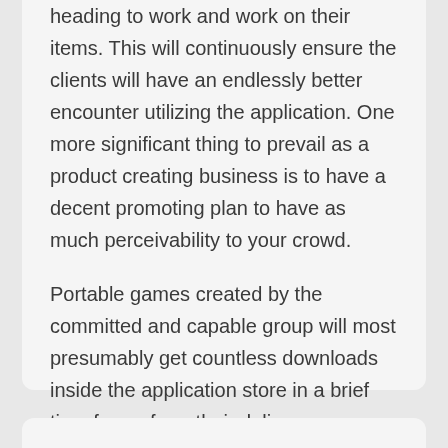heading to work and work on their items. This will continuously ensure the clients will have an endlessly better encounter utilizing the application. One more significant thing to prevail as a product creating business is to have a decent promoting plan to have as much perceivability to your crowd.
Portable games created by the committed and capable group will most presumably get countless downloads inside the application store in a brief time frame from their delivery. Remember, a game is futile without gamers....
Download Free iPhone